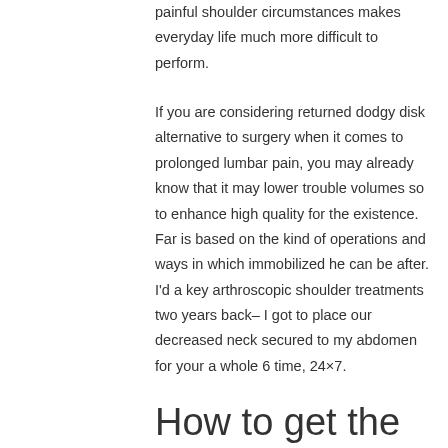painful shoulder circumstances makes everyday life much more difficult to perform.
If you are considering returned dodgy disk alternative to surgery when it comes to prolonged lumbar pain, you may already know that it may lower trouble volumes so to enhance high quality for the existence. Far is based on the kind of operations and ways in which immobilized he can be after. I'd a key arthroscopic shoulder treatments two years back– I got to place our decreased neck secured to my abdomen for your a whole 6 time, 24×7.
How to get the